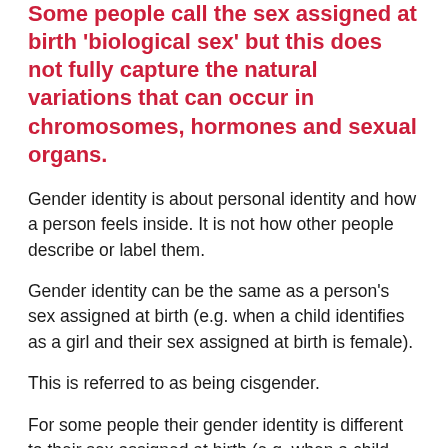Some people call the sex assigned at birth 'biological sex' but this does not fully capture the natural variations that can occur in chromosomes, hormones and sexual organs.
Gender identity is about personal identity and how a person feels inside. It is not how other people describe or label them.
Gender identity can be the same as a person's sex assigned at birth (e.g. when a child identifies as a girl and their sex assigned at birth is female).
This is referred to as being cisgender.
For some people their gender identity is different to their sex assigned at birth (e.g. when a child identifies as a boy and their sex assigned at birth is female). This is often referred to as being